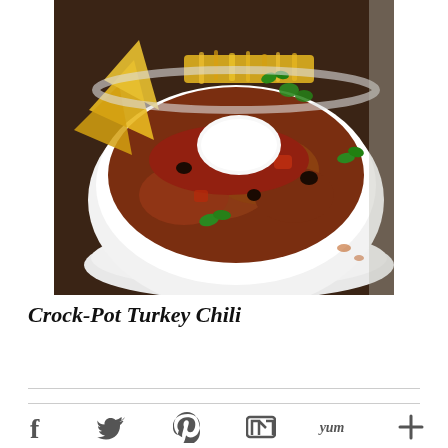[Figure (photo): A white bowl of Crock-Pot Turkey Chili topped with sour cream, shredded cheddar cheese, tortilla chips, black beans, diced tomatoes, and fresh cilantro, served on a white plate on a dark wooden surface.]
Crock-Pot Turkey Chili